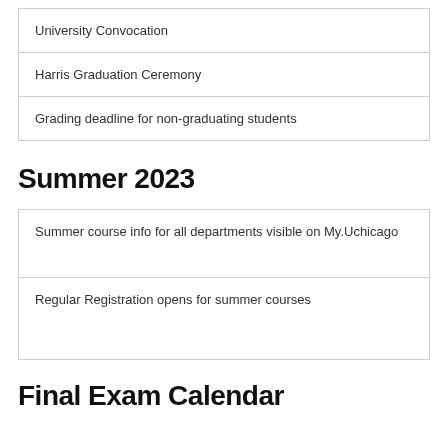| University Convocation |
| Harris Graduation Ceremony |
| Grading deadline for non-graduating students |
Summer 2023
| Summer course info for all departments visible on My.Uchicago |
| Regular Registration opens for summer courses |
Final Exam Calendar